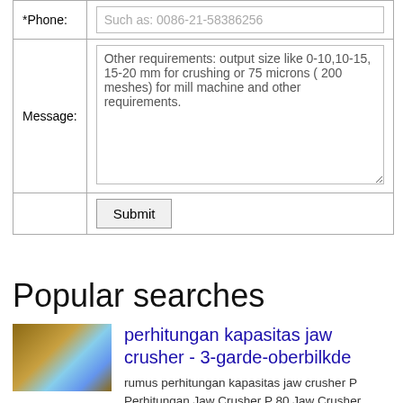| *Phone: | Such as: 0086-21-58386256 |
| Message: | Other requirements: output size like 0-10,10-15, 15-20 mm for crushing or 75 microns ( 200 meshes) for mill machine and other requirements. |
|  | Submit |
Popular searches
[Figure (photo): Thumbnail photo of a mining/crushing site with sandy terrain and machinery]
perhitungan kapasitas jaw crusher - 3-garde-oberbilkde
rumus perhitungan kapasitas jaw crusher P Perhitungan Jaw Crusher P 80 Jaw Crusher Calculations P 80 Perhitungan Jaw Crusher Heavy Industry is a hightech company integrating RD production and distribution and provides crusher sand making grinding equipment mobile